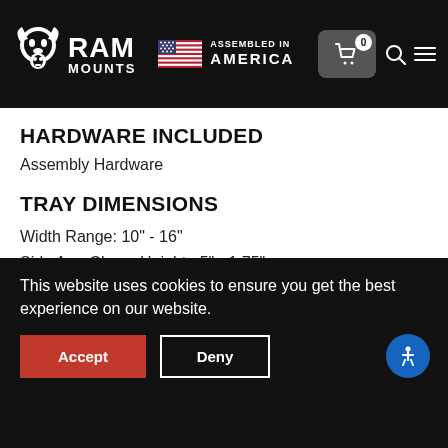RAM MOUNTS — ASSEMBLED IN AMERICA
HARDWARE INCLUDED
Assembly Hardware
TRAY DIMENSIONS
Width Range: 10" - 16"
Side Arm Clamp Height: .5" - 1.75"
Tray Depth: 10"
Tray Thickness: 2.125"
This website uses cookies to ensure you get the best experience on our website.